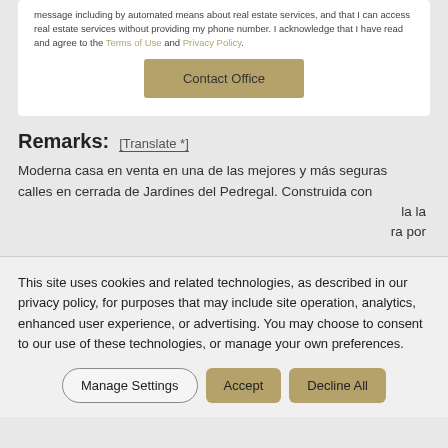message including by automated means about real estate services, and that I can access real estate services without providing my phone number. I acknowledge that I have read and agree to the Terms of Use and Privacy Policy.
Contact Office
Remarks: [Translate *]
Moderna casa en venta en una de las mejores y más seguras calles en cerrada de Jardines del Pedregal. Construida con ... la la ra por
This site uses cookies and related technologies, as described in our privacy policy, for purposes that may include site operation, analytics, enhanced user experience, or advertising. You may choose to consent to our use of these technologies, or manage your own preferences.
Manage Settings | Accept | Decline All